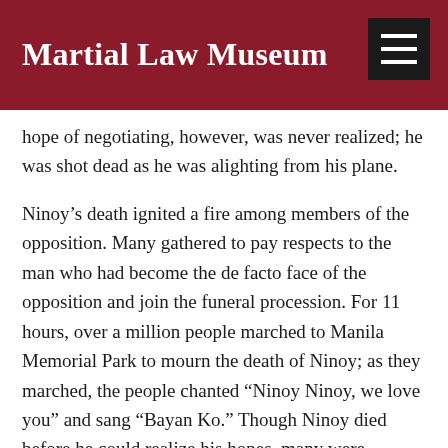Martial Law Museum
hope of negotiating, however, was never realized; he was shot dead as he was alighting from his plane.
Ninoy's death ignited a fire among members of the opposition. Many gathered to pay respects to the man who had become the de facto face of the opposition and join the funeral procession. For 11 hours, over a million people marched to Manila Memorial Park to mourn the death of Ninoy; as they marched, the people chanted “Ninoy Ninoy, we love you” and sang “Bayan Ko.” Though Ninoy died before he could realize his hopes, many were inspired to step up and continue his mission to challenge the dictatorship.